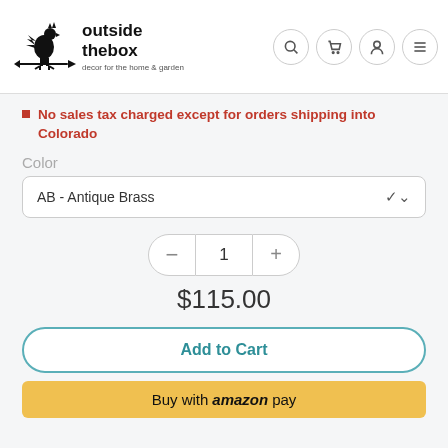[Figure (logo): Outside the Box logo with rooster weathervane and text 'outside the box decor for the home & garden']
No sales tax charged except for orders shipping into Colorado
Color
AB - Antique Brass
1
$115.00
Add to Cart
Buy with amazon pay